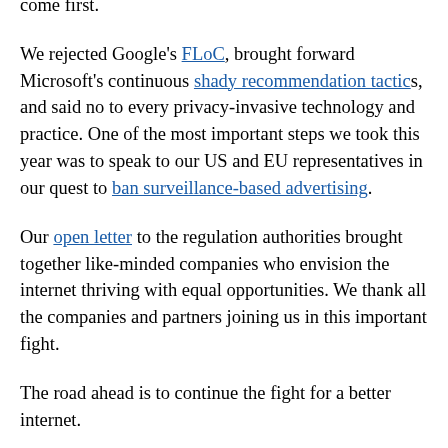come first.
We rejected Google's FLoC, brought forward Microsoft's continuous shady recommendation tactics, and said no to every privacy-invasive technology and practice. One of the most important steps we took this year was to speak to our US and EU representatives in our quest to ban surveillance-based advertising.
Our open letter to the regulation authorities brought together like-minded companies who envision the internet thriving with equal opportunities. We thank all the companies and partners joining us in this important fight.
The road ahead is to continue the fight for a better internet.
Speaking of 2022, there naturally remains much uncertainty in the wider world whether it is the